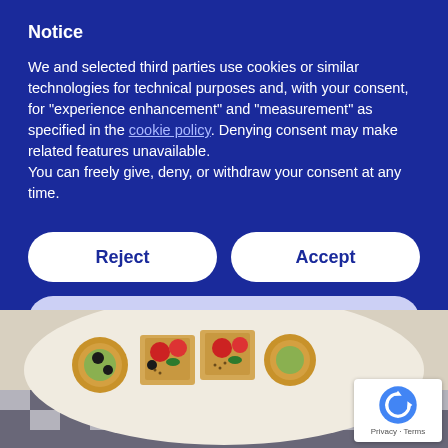Notice
We and selected third parties use cookies or similar technologies for technical purposes and, with your consent, for “experience enhancement” and “measurement” as specified in the cookie policy. Denying consent may make related features unavailable.
You can freely give, deny, or withdraw your consent at any time.
Reject
Accept
Learn more and customise
[Figure (photo): A plate of assorted pastry appetizers including small tartlets and puff pastry squares topped with tomatoes, olives, and herbs on a checkered tablecloth background. A reCAPTCHA badge is visible in the bottom-right corner with 'Privacy - Terms' text.]